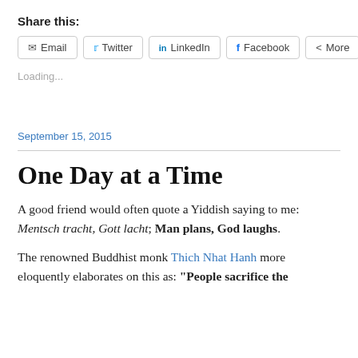Share this:
Email | Twitter | LinkedIn | Facebook | More
Loading...
September 15, 2015
One Day at a Time
A good friend would often quote a Yiddish saying to me: Mentsch tracht, Gott lacht; Man plans, God laughs.
The renowned Buddhist monk Thich Nhat Hanh more eloquently elaborates on this as: “People sacrifice the present for the future. But life is available only in the